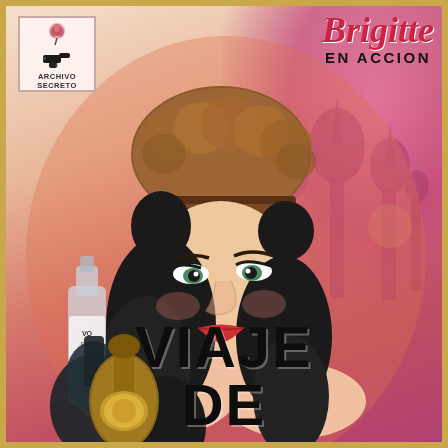[Figure (illustration): Vintage pulp fiction book cover. Features a glamorous dark-haired woman wearing a large brown fur hat and apparently little else. Behind her is a silhouette of Russian architecture (onion domes, likely St. Basil's Cathedral) in pink/magenta tones. To her left are bottles of vodka. The overall color palette is pink, orange, red and cream.]
ARCHIVO SECRETO
Brigitte EN ACCION
VIAJE DE